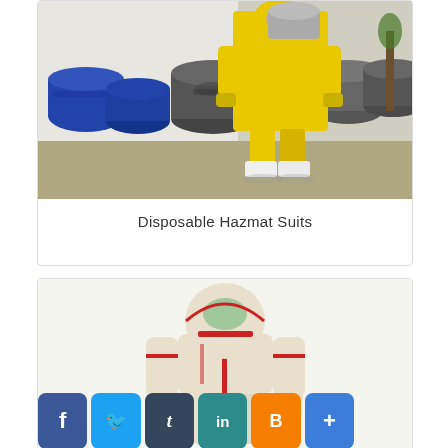[Figure (photo): Person in yellow hazmat suit standing next to large industrial barrels/drums outdoors against a white wall]
Disposable Hazmat Suits
[Figure (photo): Person wearing a white/cream disposable hazmat suit with red zipper and trim, with green-tinted visor on hood]
[Figure (infographic): Social media sharing buttons: Facebook, Twitter, Tumblr, LinkedIn, Blogger, and a plus/share button]